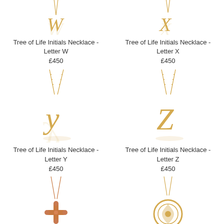[Figure (photo): Gold necklace with letter W pendant on white background, partially cropped at top]
Tree of Life Initials Necklace - Letter W
£450
[Figure (photo): Gold necklace with letter X pendant on white background, partially cropped at top]
Tree of Life Initials Necklace - Letter X
£450
[Figure (photo): Gold necklace with cursive letter Y pendant on white background]
Tree of Life Initials Necklace - Letter Y
£450
[Figure (photo): Gold necklace with cursive letter Z pendant on white background]
Tree of Life Initials Necklace - Letter Z
£450
[Figure (photo): Rose gold necklace with cross/flower pendant, partially cropped at bottom]
[Figure (photo): Yellow gold necklace with circular ornate pendant, partially cropped at bottom]